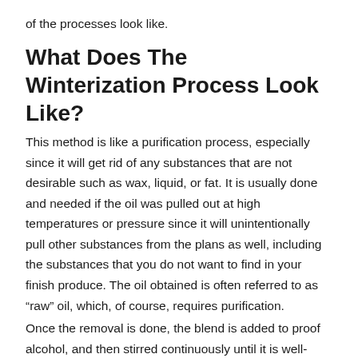of the processes look like.
What Does The Winterization Process Look Like?
This method is like a purification process, especially since it will get rid of any substances that are not desirable such as wax, liquid, or fat. It is usually done and needed if the oil was pulled out at high temperatures or pressure since it will unintentionally pull other substances from the plans as well, including the substances that you do not want to find in your finish produce. The oil obtained is often referred to as “raw” oil, which, of course, requires purification.
Once the removal is done, the blend is added to proof alcohol, and then stirred continuously until it is well-mixed